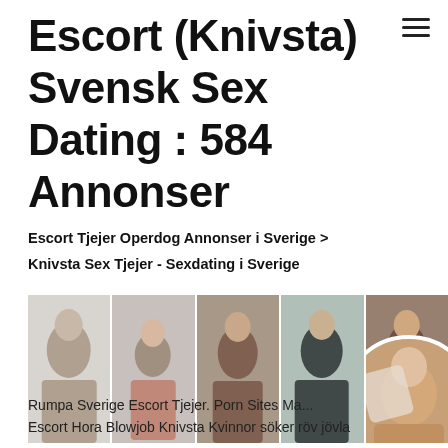Escort (Knivsta) Svensk Sex Dating : 584 Annonser
Escort Tjejer Operdog Annonser i Sverige > Knivsta Sex Tjejer - Sexdating i Sverige
[Figure (photo): Strip of 5 photos showing women, with a circular cropped image overlapping the right side]
Rumpa Sverige Escort Tjejer. Porn Sites Ma... Escort Hora Blowjob Knivsta Kvinnor söker röv jövla